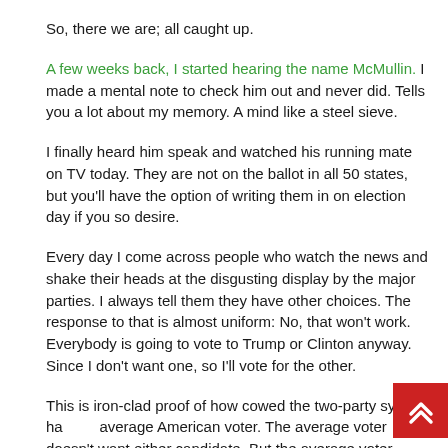So, there we are; all caught up.
A few weeks back, I started hearing the name McMullin.  I made a mental note to check him out and never did.  Tells you a lot about my memory.  A mind like a steel sieve.
I finally heard him speak and watched his running mate on TV today.  They are not on the ballot in all 50 states, but you'll have the option of writing them in on election day if you so desire.
Every day I come across people who watch the news and shake their heads at the disgusting display by the major parties.  I always tell them they have other choices.  The response to that is almost uniform:  No, that won't work.  Everybody is going to vote to Trump or Clinton anyway. Since I don't want one, so I'll vote for the other.
This is iron-clad proof of how cowed the two-party system has the average American voter.  The average voter doesn't want either candidate.  But the average voter assumes – sadly, they seem to be correct –  that all the other average voters will line up like sheep